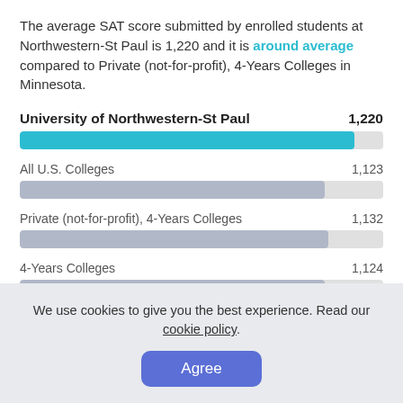The average SAT score submitted by enrolled students at Northwestern-St Paul is 1,220 and it is around average compared to Private (not-for-profit), 4-Years Colleges in Minnesota.
[Figure (bar-chart): Average SAT Score Comparison]
We use cookies to give you the best experience. Read our cookie policy.